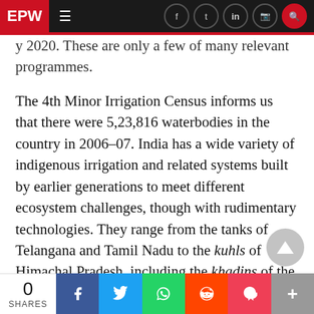EPW — navigation bar with logo, hamburger menu, and social/search icons
...y 2020. These are only a few of many relevant programmes.
The 4th Minor Irrigation Census informs us that there were 5,23,816 waterbodies in the country in 2006–07. India has a wide variety of indigenous irrigation and related systems built by earlier generations to meet different ecosystem challenges, though with rudimentary technologies. They range from the tanks of Telangana and Tamil Nadu to the kuhls of Himachal Pradesh, including the khadins of the Thar desert and Ramsar sites such as Loktak lake and East Calcutta Wetlands, the reclaimed kharlands of the Konkan, and th...
0 SHARES  [Facebook] [Twitter] [WhatsApp] [Reddit] [Pocket] [More]